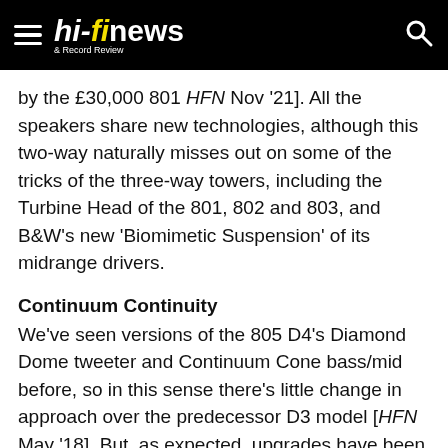hi-fi news & Record Review
by the £30,000 801 HFN Nov '21]. All the speakers share new technologies, although this two-way naturally misses out on some of the tricks of the three-way towers, including the Turbine Head of the 801, 802 and 803, and B&W's new 'Biomimetic Suspension' of its midrange drivers.
Continuum Continuity
We've seen versions of the 805 D4's Diamond Dome tweeter and Continuum Cone bass/mid before, so in this sense there's little change in approach over the predecessor D3 model [HFN May '18]. But, as expected, upgrades have been made as part of the D4 series' claim of 'continuous improvement of every